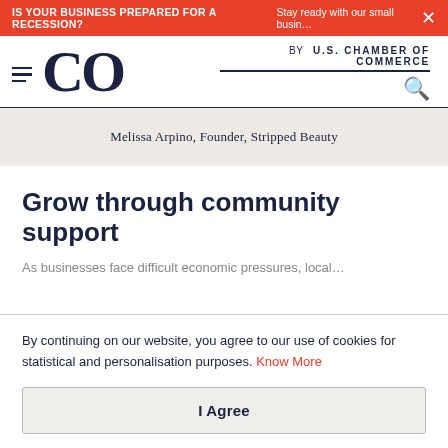IS YOUR BUSINESS PREPARED FOR A RECESSION? Stay ready with our small busin…
[Figure (logo): CO by U.S. Chamber of Commerce logo with hamburger menu and search icon]
Melissa Arpino, Founder, Stripped Beauty
Grow through community support
By continuing on our website, you agree to our use of cookies for statistical and personalisation purposes. Know More
I Agree